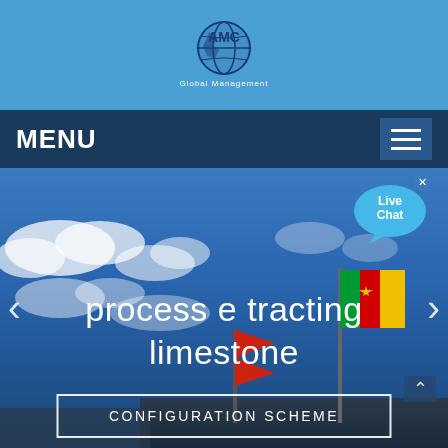AMC Global Management
MENU
[Figure (photo): Outdoor scene with flags including Cameroon flag against a blue sky with clouds, background of a building]
process e tracting limestone
CONFIGURATION SCHEME